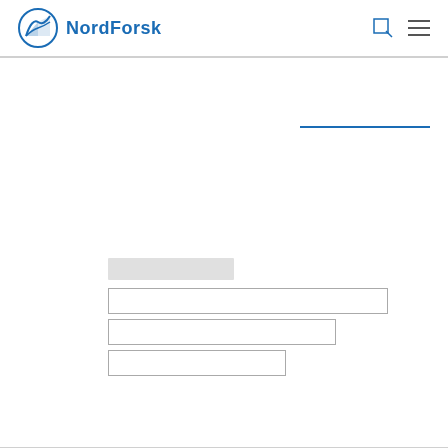NordForsk
[Figure (screenshot): NordForsk website header with logo (blue circle with sail icon and NordForsk text), search icon, and hamburger menu icon on white background with bottom border]
[Figure (screenshot): Blue horizontal underline accent on the right side of the page, below a large empty white area]
[Figure (screenshot): Web form fields: a gray label/button placeholder, followed by three input boxes of decreasing width stacked vertically]